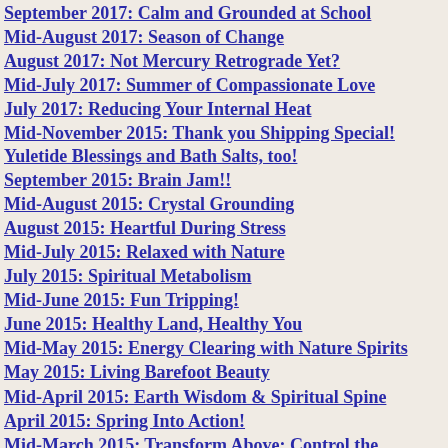September 2017: Calm and Grounded at School
Mid-August 2017: Season of Change
August 2017: Not Mercury Retrograde Yet?
Mid-July 2017: Summer of Compassionate Love
July 2017: Reducing Your Internal Heat
Mid-November 2015: Thank you Shipping Special! Yuletide Blessings and Bath Salts, too!
September 2015: Brain Jam!!
Mid-August 2015: Crystal Grounding
August 2015: Heartful During Stress
Mid-July 2015: Relaxed with Nature
July 2015: Spiritual Metabolism
Mid-June 2015: Fun Tripping!
June 2015: Healthy Land, Healthy You
Mid-May 2015: Energy Clearing with Nature Spirits
May 2015: Living Barefoot Beauty
Mid-April 2015: Earth Wisdom & Spiritual Spine
April 2015: Spring Into Action!
Mid-March 2015: Transform Above: Control the…